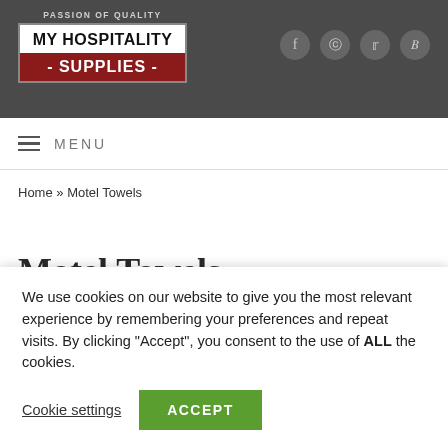PASSION OF QUALITY | MY HOSPITALITY SUPPLIES
MENU
Home » Motel Towels
Motel Towels
We use cookies on our website to give you the most relevant experience by remembering your preferences and repeat visits. By clicking "Accept", you consent to the use of ALL the cookies.
Cookie settings  ACCEPT